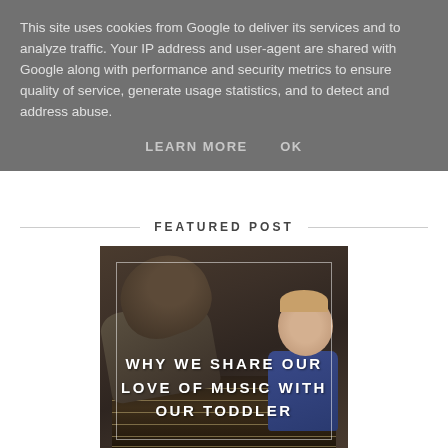This site uses cookies from Google to deliver its services and to analyze traffic. Your IP address and user-agent are shared with Google along with performance and security metrics to ensure quality of service, generate usage statistics, and to detect and address abuse.
LEARN MORE    OK
FEATURED POST
[Figure (photo): A man leaning over a guitar, playing with a young toddler with blonde hair. Both appear to be interacting with a guitar/fretboard. Text overlay reads: WHY WE SHARE OUR LOVE OF MUSIC WITH OUR TODDLER]